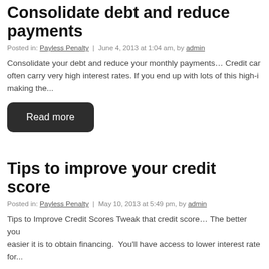Consolidate debt and reduce payments
Posted in: Payless Penalty | June 4, 2013 at 1:04 am, by admin
Consolidate your debt and reduce your monthly payments… Credit car often carry very high interest rates. If you end up with lots of this high-i making the...
Read more
Tips to improve your credit score
Posted in: Payless Penalty | May 10, 2013 at 5:49 pm, by admin
Tips to Improve Credit Scores Tweak that credit score… The better you easier it is to obtain financing. You'll have access to lower interest rate for...
Read more